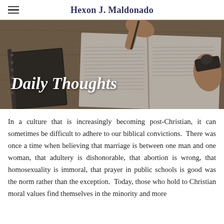Hexon J. Maldonado
[Figure (photo): Person's hands resting on an open Bible/book on a wooden table, with a notebook to the left. Overlaid text reads 'Daily Thoughts' in white italic bold font.]
In a culture that is increasingly becoming post-Christian, it can sometimes be difficult to adhere to our biblical convictions. There was once a time when believing that marriage is between one man and one woman, that adultery is dishonorable, that abortion is wrong, that homosexuality is immoral, that prayer in public schools is good was the norm rather than the exception. Today, those who hold to Christian moral values find themselves in the minority and more